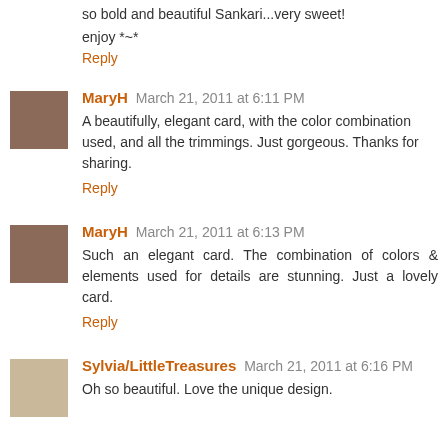so bold and beautiful Sankari...very sweet!
enjoy *~*
Reply
MaryH March 21, 2011 at 6:11 PM
A beautifully, elegant card, with the color combination used, and all the trimmings. Just gorgeous. Thanks for sharing.
Reply
MaryH March 21, 2011 at 6:13 PM
Such an elegant card. The combination of colors & elements used for details are stunning. Just a lovely card.
Reply
Sylvia/LittleTreasures March 21, 2011 at 6:16 PM
Oh so beautiful. Love the unique design.